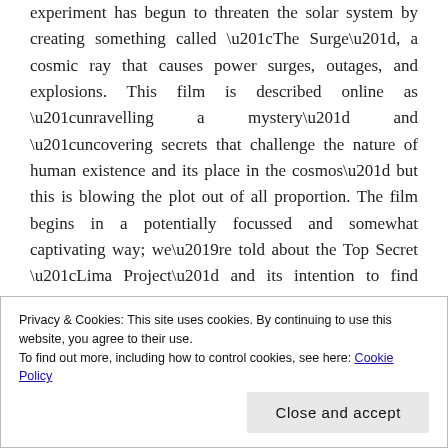experiment has begun to threaten the solar system by creating something called “The Surge”, a cosmic ray that causes power surges, outages, and explosions. This film is described online as “unravelling a mystery” and “uncovering secrets that challenge the nature of human existence and its place in the cosmos” but this is blowing the plot out of all proportion. The film begins in a potentially focussed and somewhat captivating way; we’re told about the Top Secret “Lima Project” and its intention to find extraterrestrials or intelligent life but then there’s the unneeded addition of anti-matter technology. So is it the anti-matter that’s
Privacy & Cookies: This site uses cookies. By continuing to use this website, you agree to their use.
To find out more, including how to control cookies, see here: Cookie Policy